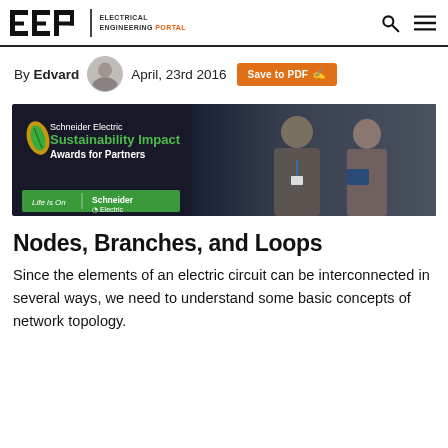EEP | ELECTRICAL ENGINEERING PORTAL
By Edvard   April, 23rd 2016   Save to PDF
[Figure (photo): Schneider Electric Sustainability Impact Awards for Partners banner advertisement showing two engineers in a server room, with Schneider Electric branding and Life Is On logo.]
Nodes, Branches, and Loops
Since the elements of an electric circuit can be interconnected in several ways, we need to understand some basic concepts of network topology.